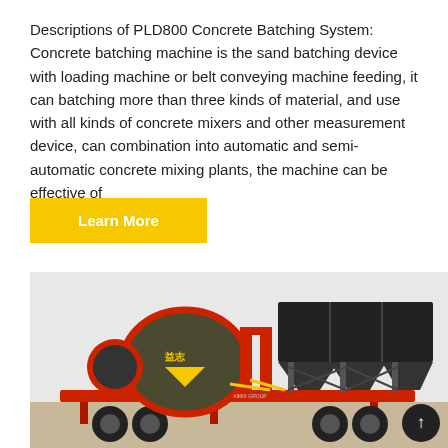Descriptions of PLD800 Concrete Batching System: Concrete batching machine is the sand batching device with loading machine or belt conveying machine feeding, it can batching more than three kinds of material, and use with all kinds of concrete mixers and other measurement device, can combination into automatic and semi-automatic concrete mixing plants, the machine can be effective of
[Figure (other): Yellow 'Learn More' button]
[Figure (photo): PLD800 Concrete Batching System with mixer truck and batching plant on a red flatbed trailer]